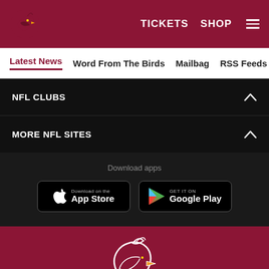[Figure (logo): Arizona Cardinals logo in header - red cardinal bird head]
TICKETS   SHOP   ☰
Latest News   Word From The Birds   Mailbag   RSS Feeds   Carde
NFL CLUBS
MORE NFL SITES
Download apps
[Figure (screenshot): Download on the App Store button]
[Figure (screenshot): GET IT ON Google Play button]
[Figure (logo): Arizona Cardinals logo - large cardinal bird head in footer]
© 2022 ARIZONA CARDINALS. ALL RIGHTS RESERVED.
[Figure (infographic): Social media icons: Facebook, Twitter, Email, Link]